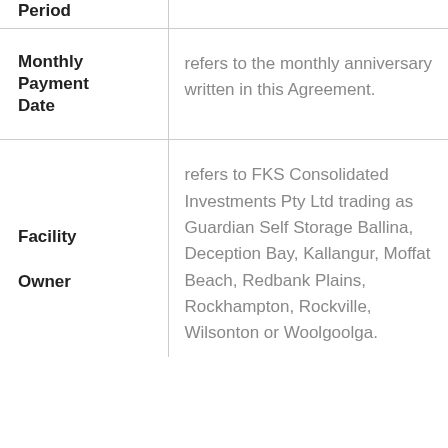| Term | Definition |
| --- | --- |
| Period |  |
| Monthly Payment Date | refers to the monthly anniversary written in this Agreement. |
| Facility Owner | refers to FKS Consolidated Investments Pty Ltd trading as Guardian Self Storage Ballina, Deception Bay, Kallangur, Moffat Beach, Redbank Plains, Rockhampton, Rockville, Wilsonton or Woolgoolga. |